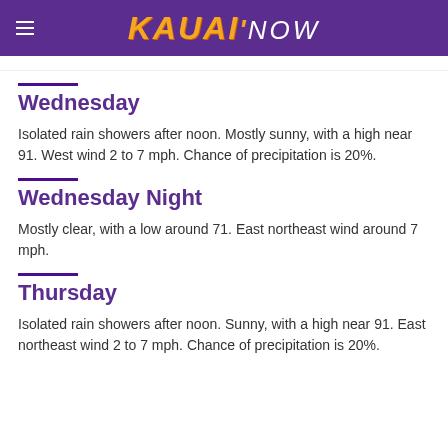KAUAI'NOW
Wednesday
Isolated rain showers after noon. Mostly sunny, with a high near 91. West wind 2 to 7 mph. Chance of precipitation is 20%.
Wednesday Night
Mostly clear, with a low around 71. East northeast wind around 7 mph.
Thursday
Isolated rain showers after noon. Sunny, with a high near 91. East northeast wind 2 to 7 mph. Chance of precipitation is 20%.